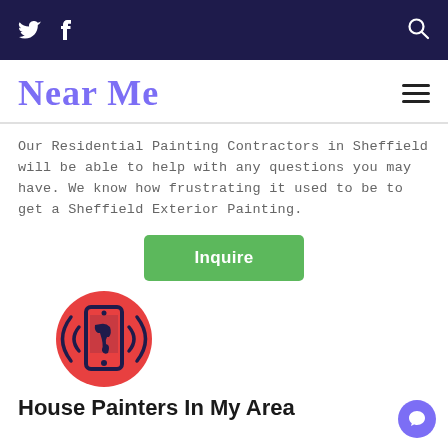Twitter Facebook [search icon]
Near Me
Our Residential Painting Contractors in Sheffield will be able to help with any questions you may have. We know how frustrating it used to be to get a Sheffield Exterior Painting.
Inquire
[Figure (illustration): Red circle with a dark blue smartphone icon showing sound/vibration waves on both sides — a phone ringing illustration]
House Painters In My Area